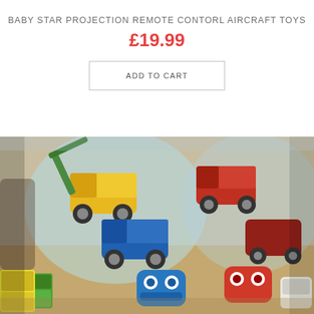BABY STAR PROJECTION REMOTE CONTORL AIRCRAFT TOYS
£19.99
ADD TO CART
[Figure (photo): Photo of multiple toy vehicles in plastic bags, including colourful construction trucks and cartoon character cars displayed together on a surface.]